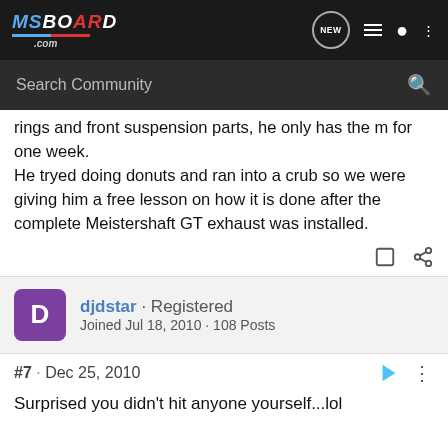MSBOARD .com
rings and front suspension parts, he only has the m for one week.
He tryed doing donuts and ran into a crub so we were giving him a free lesson on how it is done after the complete Meistershaft GT exhaust was installed.
djdstar · Registered
Joined Jul 18, 2010 · 108 Posts
#7 · Dec 25, 2010
Surprised you didn't hit anyone yourself...lol